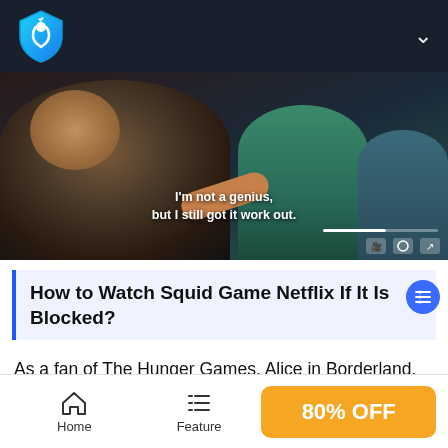VPN service navigation bar with logo and menu chevron
[Figure (screenshot): Video screenshot showing two people, one with dark hair looking up, another in teal/green outfit, with subtitle text reading: I'm not a genius, but I still got it work out. Video player controls visible at bottom right.]
How to Watch Squid Game Netflix If It Is Blocked?
As a fan of The Hunger Games, Alice in Borderland, or any other dystopian thrillers, you can't miss the global sensation Squid Game. If some of you have no access to the Squid Game Netflix, whether because of traveling or blocked, you
Home   Feature   80% OFF